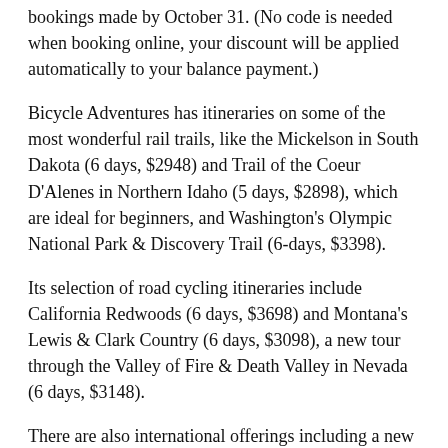bookings made by October 31. (No code is needed when booking online, your discount will be applied automatically to your balance payment.)
Bicycle Adventures has itineraries on some of the most wonderful rail trails, like the Mickelson in South Dakota (6 days, $2948) and Trail of the Coeur D'Alenes in Northern Idaho (5 days, $2898), which are ideal for beginners, and Washington's Olympic National Park & Discovery Trail (6-days, $3398).
Its selection of road cycling itineraries include California Redwoods (6 days, $3698) and Montana's Lewis & Clark Country (6 days, $3098), a new tour through the Valley of Fire & Death Valley in Nevada (6 days, $3148).
There are also international offerings including a new Ireland 's Wild Atlantic Way (7 days, $4373) and a new France Bike and Barge from Strasbourg to Legarda in Alsace (7 days, $5122);